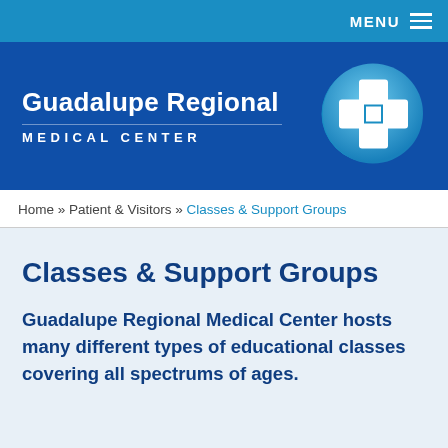MENU
[Figure (logo): Guadalupe Regional Medical Center logo with white cross icon on blue circular background]
Home » Patient & Visitors » Classes & Support Groups
Classes & Support Groups
Guadalupe Regional Medical Center hosts many different types of educational classes covering all spectrums of ages.